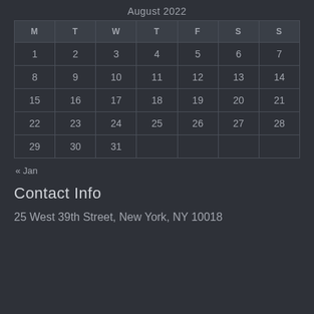August 2022
| M | T | W | T | F | S | S |
| --- | --- | --- | --- | --- | --- | --- |
| 1 | 2 | 3 | 4 | 5 | 6 | 7 |
| 8 | 9 | 10 | 11 | 12 | 13 | 14 |
| 15 | 16 | 17 | 18 | 19 | 20 | 21 |
| 22 | 23 | 24 | 25 | 26 | 27 | 28 |
| 29 | 30 | 31 |  |  |  |  |
« Jan
Contact Info
25 West 39th Street, New York, NY 10018